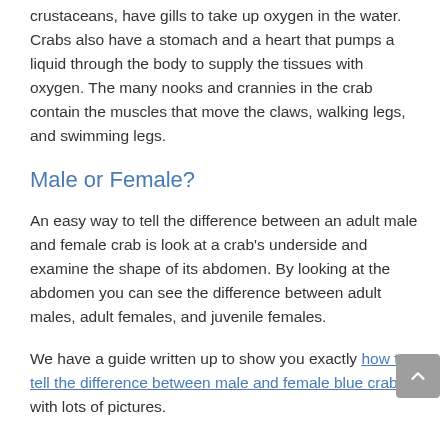crustaceans, have gills to take up oxygen in the water. Crabs also have a stomach and a heart that pumps a liquid through the body to supply the tissues with oxygen. The many nooks and crannies in the crab contain the muscles that move the claws, walking legs, and swimming legs.
Male or Female?
An easy way to tell the difference between an adult male and female crab is look at a crab's underside and examine the shape of its abdomen. By looking at the abdomen you can see the difference between adult males, adult females, and juvenile females.
We have a guide written up to show you exactly how to tell the difference between male and female blue crabs with lots of pictures.